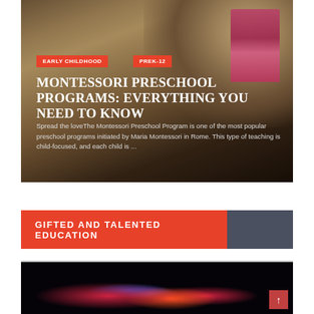[Figure (photo): Child leaning over a colorful book or toy, photographed from above on a dark background]
EARLY CHILDHOOD
PREK-12
MONTESSORI PRESCHOOL PROGRAMS: EVERYTHING YOU NEED TO KNOW
Spread the loveThe Montessori Preschool Program is one of the most popular preschool programs initiated by Maria Montessori in Rome. This type of teaching is child-focused, and each child is ...
GIFTED AND TALENTED EDUCATION
[Figure (photo): Dark background with colorful glowing circular ornamental designs — red, orange, blue light patterns]